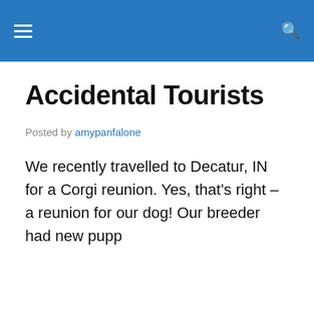≡   🔍
Accidental Tourists
Posted by amypanfalone
We recently travelled to Decatur, IN for a Corgi reunion. Yes, that's right – a reunion for our dog! Our breeder had new pupp